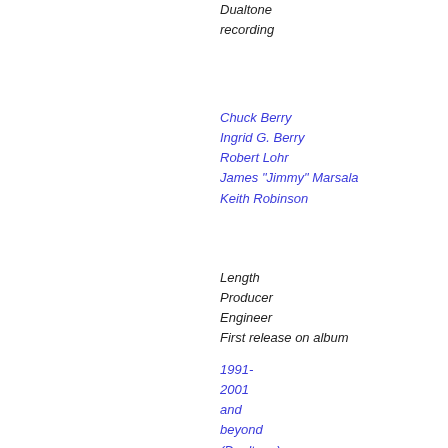Dualtone recording
Chuck Berry
Ingrid G. Berry
Robert Lohr
James "Jimmy" Marsala
Keith Robinson
Length
Producer
Engineer
First release on album
1991-2001 and beyond (Dualtone)